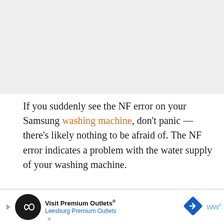[Figure (other): Gray placeholder image area at top of page]
If you suddenly see the NF error on your Samsung washing machine, don't panic — there's likely nothing to be afraid of. The NF error indicates a problem with the water supply of your washing machine.
The Samsung Washer NF (No Fill) error code is displayed when the washer fails to fill with enough water...
[Figure (other): Advertisement banner: Visit Premium Outlets® Leesburg Premium Outlets]